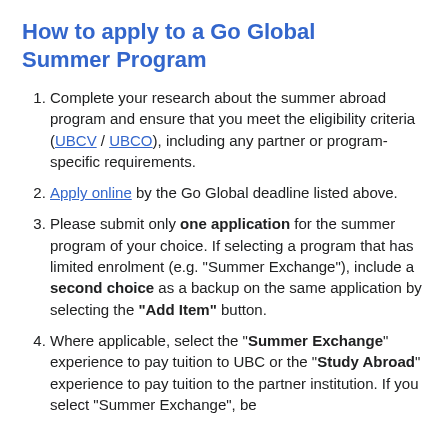How to apply to a Go Global Summer Program
Complete your research about the summer abroad program and ensure that you meet the eligibility criteria (UBCV / UBCO), including any partner or program-specific requirements.
Apply online by the Go Global deadline listed above.
Please submit only one application for the summer program of your choice. If selecting a program that has limited enrolment (e.g. "Summer Exchange"), include a second choice as a backup on the same application by selecting the "Add Item" button.
Where applicable, select the "Summer Exchange" experience to pay tuition to UBC or the "Study Abroad" experience to pay tuition to the partner institution. If you select "Summer Exchange", be sure to include both choices.